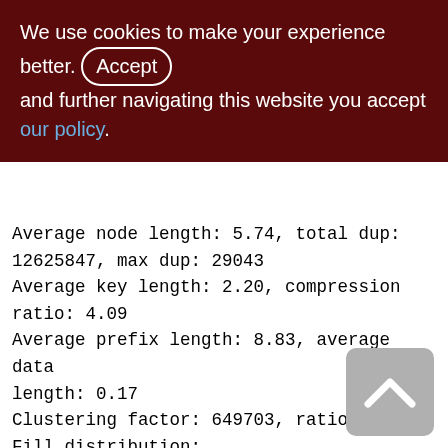We use cookies to make your experience better. By accepting and further navigating this website you accept our policy.
Average node length: 5.74, total dup: 12625847, max dup: 29043
Average key length: 2.20, compression ratio: 4.09
Average prefix length: 8.83, average data length: 0.17
Clustering factor: 649703, ratio: 0.05
Fill distribution:
0 - 19% = 2
20 - 39% = 0
40 - 59% = 13626
60 - 79% = 1704
80 - 99% = 1181
[Figure (other): Back to top button — grey rounded rectangle with upward chevron arrow]